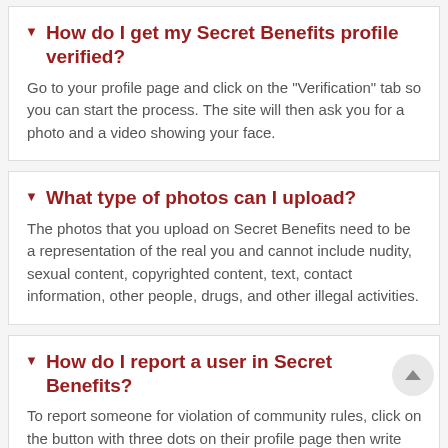How do I get my Secret Benefits profile verified?
Go to your profile page and click on the "Verification" tab so you can start the process. The site will then ask you for a photo and a video showing your face.
What type of photos can I upload?
The photos that you upload on Secret Benefits need to be a representation of the real you and cannot include nudity, sexual content, copyrighted content, text, contact information, other people, drugs, and other illegal activities.
How do I report a user in Secret Benefits?
To report someone for violation of community rules, click on the button with three dots on their profile page then write your reason on the text box that